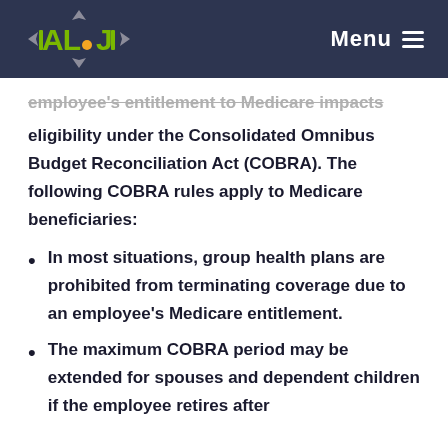ALJ logo | Menu
employee's entitlement to Medicare impacts eligibility under the Consolidated Omnibus Budget Reconciliation Act (COBRA). The following COBRA rules apply to Medicare beneficiaries:
In most situations, group health plans are prohibited from terminating coverage due to an employee's Medicare entitlement.
The maximum COBRA period may be extended for spouses and dependent children if the employee retires after